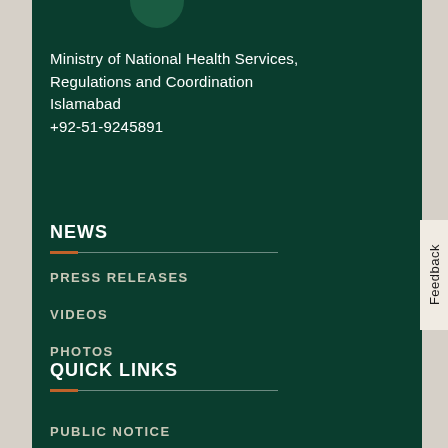Ministry of National Health Services, Regulations and Coordination
Islamabad
+92-51-9245891
NEWS
PRESS RELEASES
VIDEOS
PHOTOS
QUICK LINKS
PUBLIC NOTICE